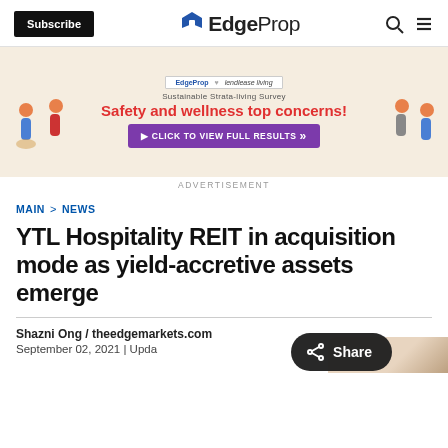Subscribe | EdgeProp
[Figure (infographic): Advertisement banner for EdgeProp and Lendlease Living Sustainable Strata-living Survey. Text reads: Safety and wellness top concerns! Click to view full results.]
ADVERTISEMENT
MAIN > NEWS
YTL Hospitality REIT in acquisition mode as yield-accretive assets emerge
Shazni Ong / theedgemarkets.com
September 02, 2021 | Upda...